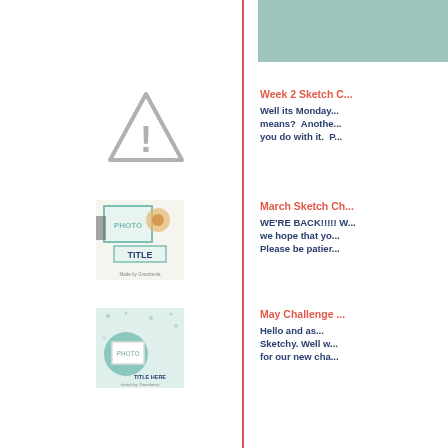[Figure (other): Teal/mint colored rectangle in top right area]
[Figure (other): Warning triangle icon with exclamation mark (gray outline)]
Week 2 Sketch C...
Well its Monday... means? Another... you do with it. P...
[Figure (other): Scrapbook layout thumbnail showing PHOTO and TITLE placeholder with decorative elements]
March Sketch Ch...
WE'RE BACK!!!!! W... we hope that yo... Please be patier...
[Figure (other): Scrapbook layout thumbnail with teal circular element and PHOTO/TITLE HERE placeholders]
May Challenge ...
Hello and as... Sketchy. Well w... for our new cha...